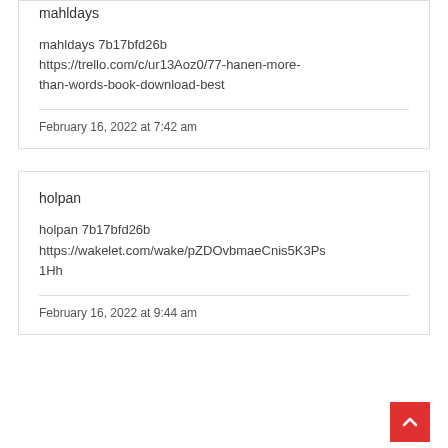mahldays
mahldays 7b17bfd26b https://trello.com/c/ur13Aoz0/77-hanen-more-than-words-book-download-best
February 16, 2022 at 7:42 am
holpan
holpan 7b17bfd26b https://wakelet.com/wake/pZDOvbmaeCnis5K3Ps1Hh
February 16, 2022 at 9:44 am